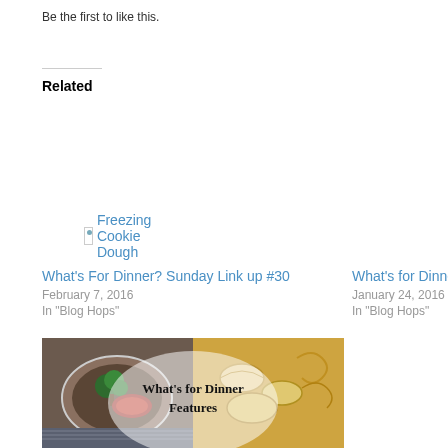Be the first to like this.
Related
Freezing Cookie Dough
What's For Dinner? Sunday Link up #30
February 7, 2016
In "Blog Hops"
What's for Dinne...
January 24, 2016
In "Blog Hops"
[Figure (photo): Food photo showing a plate with broccoli and meat on the left side and dumplings/noodles on the right side, with a semi-transparent circular overlay containing the text 'What's for Dinner Features']